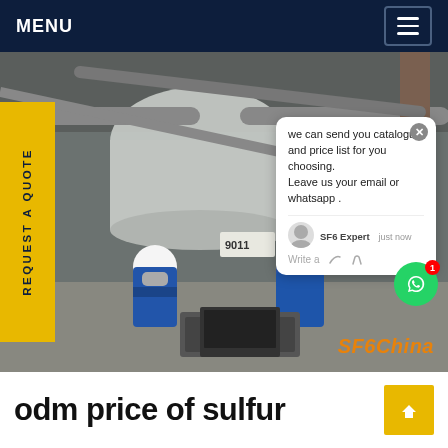MENU
[Figure (photo): Two workers in blue coveralls, hard hats, and respirator masks working on industrial SF6 gas equipment in a plant, with large pipes and machinery in background. A chat popup overlay shows: 'we can send you catalogue and price list for you choosing. Leave us your email or whatsapp .' with SF6 Expert label and 'just now' timestamp. SF6China watermark in lower right.]
odm price of sulfur